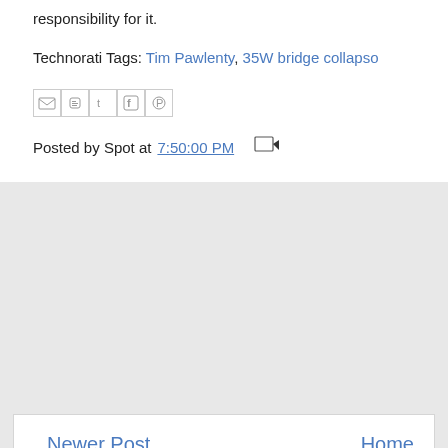responsibility for it.
Technorati Tags: Tim Pawlenty, 35W bridge collapse
[Figure (other): Social sharing icons: Gmail, Blogger, Twitter, Facebook, Pinterest]
Posted by Spot at 7:50:00 PM
Newer Post    Home
Subscribe to: Post Comments